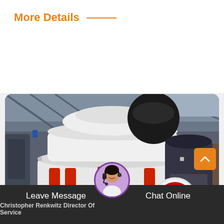More Details
[Figure (photo): Industrial cone crusher machine in white and red color, photographed inside a factory/warehouse setting. Large white cylindrical crushing unit with red hydraulic cylinders and a secondary crusher visible in the background, along with a pulley wheel.]
Leave Message
Chat Online
Christopher Renkwitz Director Of Service